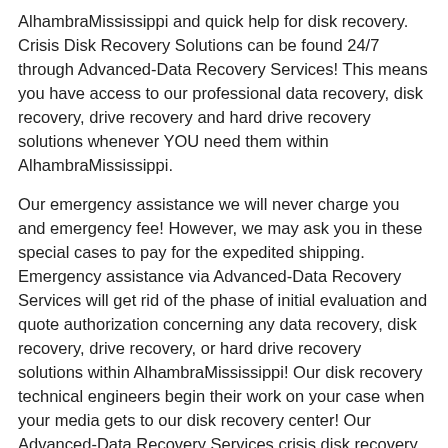AlhambraMississippi and quick help for disk recovery. Crisis Disk Recovery Solutions can be found 24/7 through Advanced-Data Recovery Services!  This means you have access to our professional data recovery, disk recovery, drive recovery and hard drive recovery solutions whenever YOU need them within AlhambraMississippi.
Our emergency assistance we will never charge you and emergency fee! However, we may ask you in these special cases to pay for the expedited shipping. Emergency assistance via Advanced-Data Recovery Services will get rid of the phase of initial evaluation and quote authorization concerning any data recovery, disk recovery, drive recovery, or hard drive recovery solutions within AlhambraMississippi! Our disk recovery technical engineers begin their work on your case when your media gets to our disk recovery center! Our  Advanced-Data Recovery Services crisis disk recovery technical engineers make use of each available resource, and work all around the clock until a effective data recovery, disk recovery, drive recovery or hard drive recovery is produced!